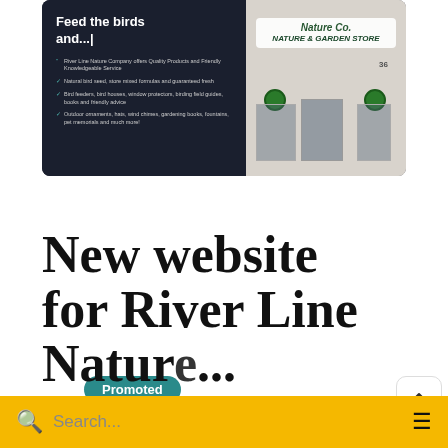[Figure (screenshot): Screenshot of River Line Nature Co. website banner showing 'Feed the birds and...' text with bullet points and a storefront photo of the Nature Co. shop]
Promoted
New website for River Line Nature...